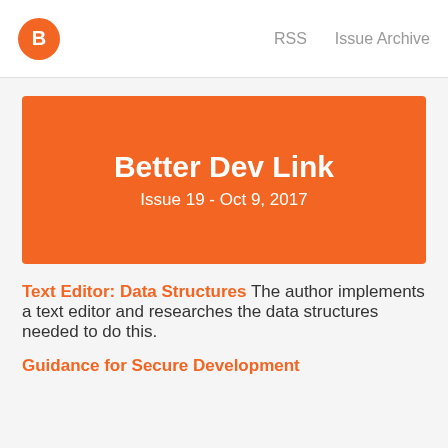B  RSS  Issue Archive
Better Dev Link
Issue 19 - Oct 9, 2017
Text Editor: Data Structures The author implements a text editor and researches the data structures needed to do this.
Guidance for Secure Development